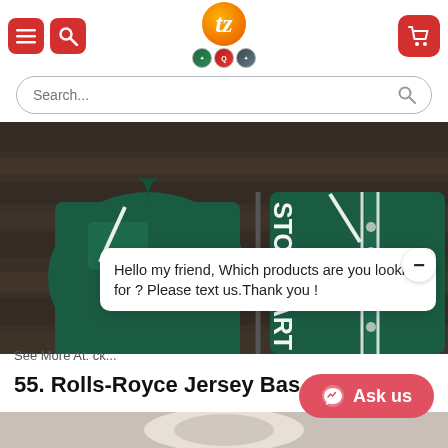[Figure (screenshot): E-commerce website header with red hamburger menu button, red search button, orange/gradient logo with letter 't' and three badge icons, and a red shopping cart button on the right]
[Figure (screenshot): Search bar with placeholder text 'Search...' and a search icon on the right]
[Figure (photo): Dark teal/green baseball jersey shirt with white vertical stripes and text 'STON MART' visible on a wooden background]
Hello my friend, Which products are you looking for ? Please text us.Thank you !
See More At: ck...
55. Rolls-Royce Jersey Bas...
[Figure (screenshot): Messenger 'Ask us' button in coral/red rounded pill shape with messenger icon]